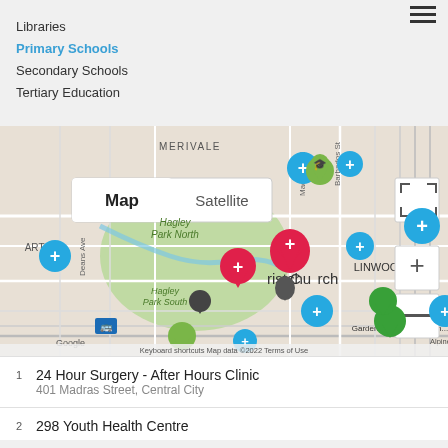Libraries
Primary Schools
Secondary Schools
Tertiary Education
[Figure (map): Google Maps view of Christchurch central city area showing MERIVALE, Hagley Park North, Hagley Park South, Christchurch, LINWOOD, ARTON, ADDINGTON areas. Map has colored pin markers (cyan/blue plus signs for health facilities, green pins for schools, red/pink pins for highlighted locations, black pins). Shows streets including Deans Ave, Madras St, Barbados St, Byron St. Map controls include Map/Satellite toggle, zoom in/out buttons, fullscreen button. Footer shows Keyboard shortcuts, Map data ©2022, Terms of Use. Also shows Zone Bowling Garden City Christchurch... and Alpine Ice Spor...]
1  24 Hour Surgery - After Hours Clinic
401 Madras Street, Central City
2  298 Youth Health Centre